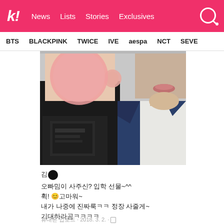k! News Lists Stories Exclusives
BTS BLACKPINK TWICE IVE aespa NCT SEVE
[Figure (photo): Two people posing together for a selfie. Person on left has face blurred with a pink/peach circle, wearing a black t-shirt. Person on right shows only lower face (no face blur), wearing a blue blazer and white shirt.]
김●
오빠밈이 사주신? 입학 선물~^^
휙! 😊고마워~
내가 나중에 진짜룩ㅋㅋ 정장 사줄게~
기대하라곰ㅋㅋㅋㅋ
휴대폰 업로드 · 2018. 3. 2. ·